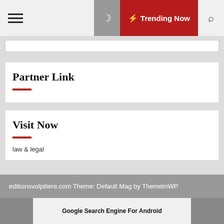Trending Now
Partner Link
Visit Now
law & legal
editionsvolpiliere.com Theme: Default Mag by ThemeInWP
Google Search Engine For Android